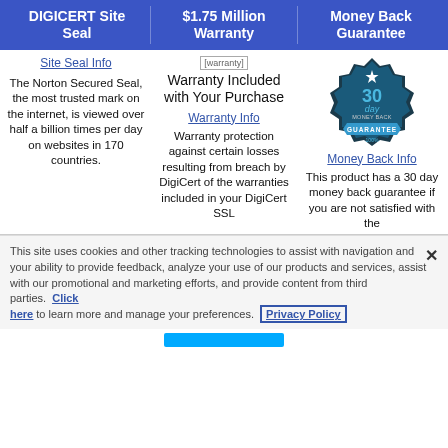DIGICERT Site Seal | $1.75 Million Warranty | Money Back Guarantee
Site Seal Info
[Figure (illustration): warranty image placeholder]
Warranty Included with Your Purchase
[Figure (illustration): 30 day money back guarantee badge]
Warranty Info
Money Back Info
The Norton Secured Seal, the most trusted mark on the internet, is viewed over half a billion times per day on websites in 170 countries.
Warranty protection against certain losses resulting from breach by DigiCert of the warranties included in your DigiCert SSL
This product has a 30 day money back guarantee if you are not satisfied with the
This site uses cookies and other tracking technologies to assist with navigation and your ability to provide feedback, analyze your use of our products and services, assist with our promotional and marketing efforts, and provide content from third parties. Click here to learn more and manage your preferences. Privacy Policy